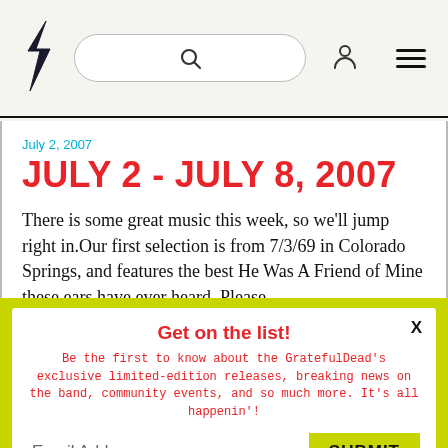[Figure (logo): Grateful Dead lightning bolt logo (black zigzag bolt)]
July 2, 2007
JULY 2 - JULY 8, 2007
There is some great music this week, so we'll jump right in.Our first selection is from 7/3/69 in Colorado Springs, and features the best He Was A Friend of Mine these ears have ever heard. Please…
Get on the list!
Be the first to know about the GratefulDead's exclusive limited-edition releases, breaking news on the band, community events, and so much more. It's all happenin'!
Email Address
SUBMIT
Terms